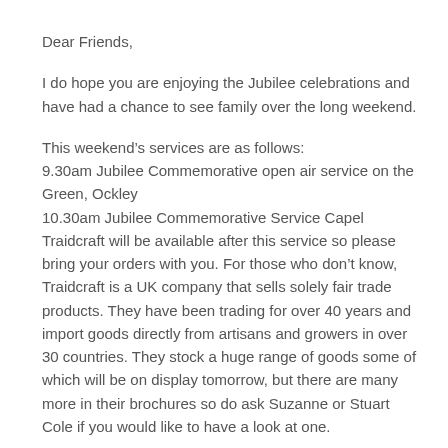Dear Friends,
I do hope you are enjoying the Jubilee celebrations and have had a chance to see family over the long weekend.
This weekend’s services are as follows:
9.30am Jubilee Commemorative open air service on the Green, Ockley
10.30am Jubilee Commemorative Service Capel
Traidcraft will be available after this service so please bring your orders with you. For those who don’t know, Traidcraft is a UK company that sells solely fair trade products. They have been trading for over 40 years and import goods directly from artisans and growers in over 30 countries. They stock a huge range of goods some of which will be on display tomorrow, but there are many more in their brochures so do ask Suzanne or Stuart Cole if you would like to have a look at one.
Please note there are no church teas this weekend as it was felt there was a lot going on!